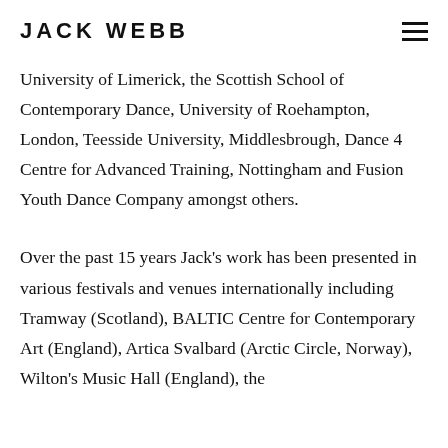JACK WEBB
University of Limerick, the Scottish School of Contemporary Dance, University of Roehampton, London, Teesside University, Middlesbrough, Dance 4 Centre for Advanced Training, Nottingham and Fusion Youth Dance Company amongst others.
Over the past 15 years Jack's work has been presented in various festivals and venues internationally including Tramway (Scotland), BALTIC Centre for Contemporary Art (England), Artica Svalbard (Arctic Circle, Norway), Wilton's Music Hall (England), the